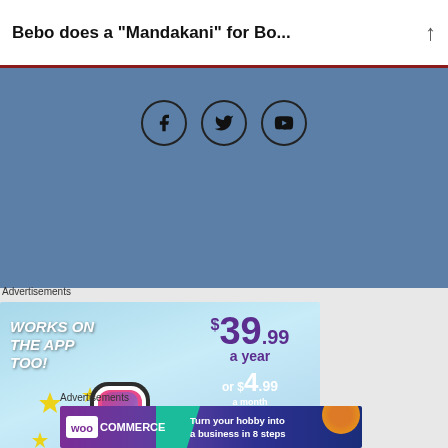Bebo does a “Mandakani” for Bo…
[Figure (screenshot): Blue band section with Facebook, Twitter, YouTube social media icons]
Advertisements
[Figure (infographic): Tumblr Ad-Free advertisement: Works on the App Too! $39.99 a year or $4.99 a month + Free Shipping. Tumblr logo with sparkles.]
Advertisements
[Figure (infographic): WooCommerce advertisement: Turn your hobby into a business in 8 steps]